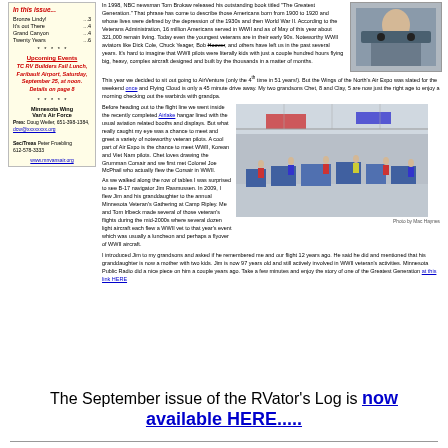In this issue...
Bronze Lindy! ...3
It's out There ...4
Grand Canyon ...4
Twenty Years ...6
Upcoming Events
TC RV Builders Fall Lunch, Faribault Airport, Saturday, September 25, at noon. Details on page 8
Minnesota Wing Van's Air Force
Pres: Doug Weiler, 651-398-1384, dcw@xxxxxxx.org
Sec/Treas: Peter Fruebling 612-578-3333
www.mnvansair.org
In 1998, NBC newsman Tom Brokaw released his outstanding book titled "The Greatest Generation." That phrase has come to describe those Americans born from 1900 to 1920 and whose lives were defined by the depression of the 1930s and then World War II. According to the Veterans Administration, 16 million Americans served in WWII and as of May of this year about 321,000 remain living. Today even the youngest veterans are in their early 90s. Noteworthy WWII aviators like Dick Cole, Chuck Yeager, Bob Hoover, and others have left us in the past several years. It's hard to imagine that WWII pilots were literally kids with just a couple hundred hours flying big, heavy, complex aircraft designed and built by the thousands in a matter of months.
[Figure (photo): Young boy seated at aircraft cockpit controls]
This year we decided to sit out going to AirVenture (only the 4th time in 51 years!). But the Wings of the North's Air Expo was slated for the weekend once and Flying Cloud is only a 45 minute drive away. My two grandsons Chet, 8 and Clay, 5 are now just the right age to enjoy a morning checking out the warbirds with grandpa.
Before heading out to the flight line we went inside the recently completed Airlake hangar lined with the usual aviation related booths and displays. But what really caught my eye was a chance to meet and greet a variety of noteworthy veteran pilots. A cool part of Air Expo is the chance to meet WWII, Korean and Viet Nam pilots. Chet loves drawing the Grumman Corsair and we first met Colonel Joe McPhail who actually flew the Corsair in WWII.

As we walked along the row of tables I was surprised to see B-17 navigator Jim Rasmussen. In 2009, I flew Jim and his granddaughter to the annual Minnesota Veteran's Gathering at Camp Ripley. Me and Tom Irlbeck made several of those veteran's flights during the mid-2000s where several dozen light aircraft each flew a WWII vet to that year's event which was usually a luncheon and perhaps a flyover of WWII aircraft. I introduced Jim to my grandsons and asked if he remembered me and our flight 12 years ago. He said he did and mentioned that his granddaughter is now a mother with two kids. Jim is now 97 years old and still actively involved in WWII veteran's activities. Minnesota Public Radio did a nice piece on him a couple years ago. Take a few minutes and enjoy the story of one of the Greatest Generation at this link HERE
[Figure (photo): Interior of aviation hangar with booths and visitors]
Photo by Mac Haynes
The September issue of the RVator's Log is now available HERE.....